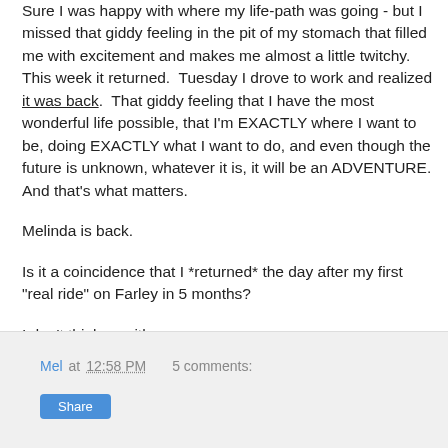Sure I was happy with where my life-path was going - but I missed that giddy feeling in the pit of my stomach that filled me with excitement and makes me almost a little twitchy. This week it returned. Tuesday I drove to work and realized it was back. That giddy feeling that I have the most wonderful life possible, that I'm EXACTLY where I want to be, doing EXACTLY what I want to do, and even though the future is unknown, whatever it is, it will be an ADVENTURE. And that's what matters.

Melinda is back.

Is it a coincidence that I *returned* the day after my first "real ride" on Farley in 5 months?

I don't think so either.
Mel at 12:58 PM   5 comments:   Share